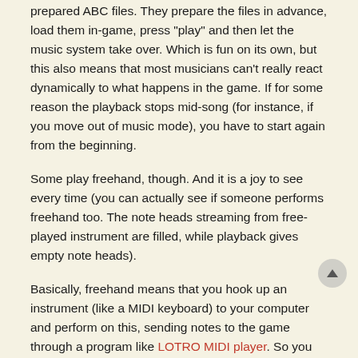prepared ABC files. They prepare the files in advance, load them in-game, press "play" and then let the music system take over. Which is fun on its own, but this also means that most musicians can't really react dynamically to what happens in the game. If for some reason the playback stops mid-song (for instance, if you move out of music mode), you have to start again from the beginning.
Some play freehand, though. And it is a joy to see every time (you can actually see if someone performs freehand too. The note heads streaming from free-played instrument are filled, while playback gives empty note heads).
Basically, freehand means that you hook up an instrument (like a MIDI keyboard) to your computer and perform on this, sending notes to the game through a program like LOTRO MIDI player. So you really perform the song yourself, and it plays in-game. While it is hard to play freehand synced in a band due to latency issues, this can lead to some blistering solo performances.
The first freehand-player I ran into was Lotti, the founder of